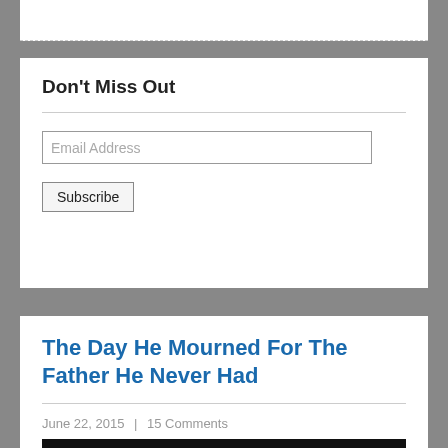Don't Miss Out
Email Address
Subscribe
The Day He Mourned For The Father He Never Had
June 22, 2015  |  15 Comments
[Figure (photo): Black and white photo of what appears to be a sheep or similar animal against a dark background]